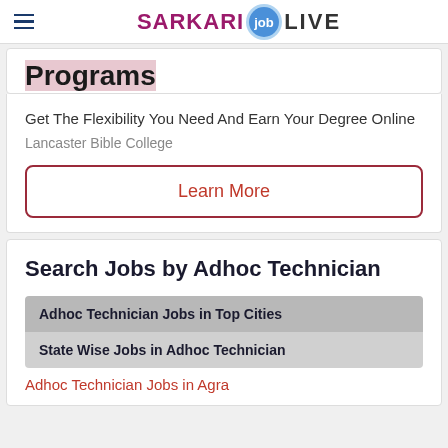SARKARI job LIVE
Programs
Get The Flexibility You Need And Earn Your Degree Online
Lancaster Bible College
Learn More
Search Jobs by Adhoc Technician
Adhoc Technician Jobs in Top Cities
State Wise Jobs in Adhoc Technician
Adhoc Technician Jobs in Agra